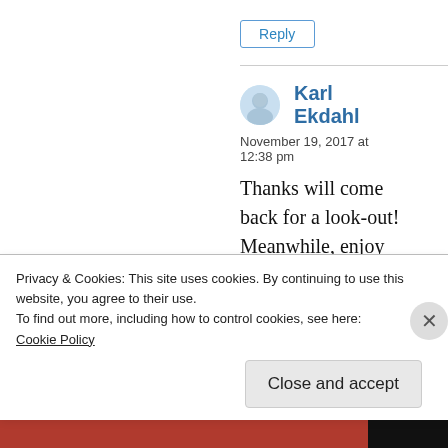Reply
Karl Ekdahl
November 19, 2017 at 12:38 pm
Thanks will come back for a look-out! Meanwhile, enjoy your Sunday afternoon. I will return to the book I’m writing about creative leadership. It’s also a lot about knowing your direction, having strong
Privacy & Cookies: This site uses cookies. By continuing to use this website, you agree to their use.
To find out more, including how to control cookies, see here:
Cookie Policy
Close and accept